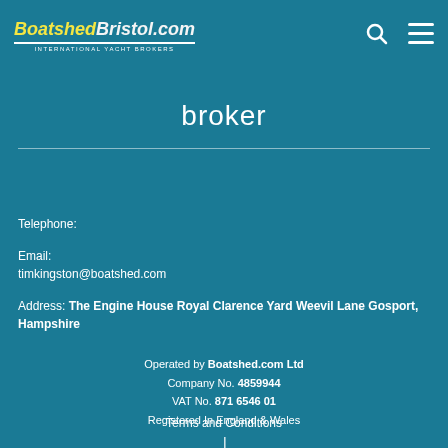BoatshedBristol.com INTERNATIONAL YACHT BROKERS
broker
Telephone:
Email:
timkingston@boatshed.com
Address: The Engine House Royal Clarence Yard Weevil Lane Gosport, Hampshire
Operated by Boatshed.com Ltd
Company No. 4859944
VAT No. 871 6546 01
Registered In England & Wales
Terms and Conditions